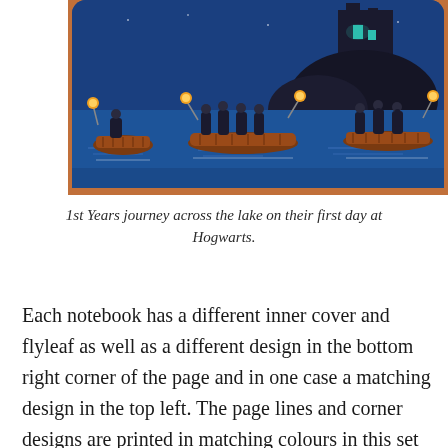[Figure (illustration): Illustrated scene on a blue background showing boats with robed figures crossing a lake at night, with glowing yellow lanterns, water reflections, and a tall dark castle or tower in the background. The image appears to be on a rounded-corner card or book cover.]
1st Years journey across the lake on their first day at Hogwarts.
Each notebook has a different inner cover and flyleaf as well as a different design in the bottom right corner of the page and in one case a matching design in the top left. The page lines and corner designs are printed in matching colours in this set two are orange and one is blue and all are stitched with orange